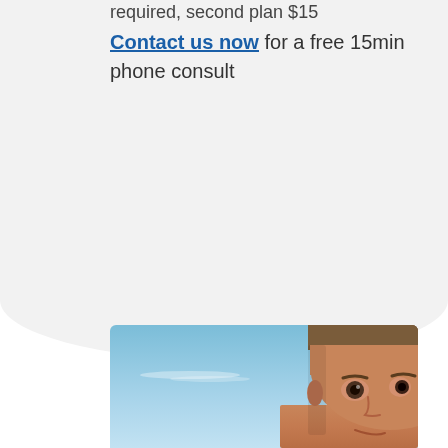required, second plan $15
Contact us now for a free 15min phone consult
[Figure (photo): Young boy smiling against a blue sky background, photographed from roughly chin to forehead level, cropped at bottom of frame]